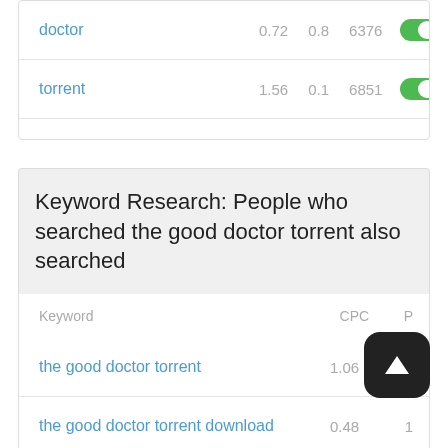| Keyword |  |  |  |  |
| --- | --- | --- | --- | --- |
| doctor | 0.72 | 0.8 | 6376 | toggle |
| torrent | 1.56 | 0.1 | 6851 | toggle |
Keyword Research: People who searched the good doctor torrent also searched
| Keyword | CPC | P |
| --- | --- | --- |
| the good doctor torrent | 1.06 | 0 |
| the good doctor torrent download | 0.48 | 1 |
| the good doctor torrent 5 temporada | 1.01 |  |
| the good doctor torrent 1 temporada | 1.36 | 0 |